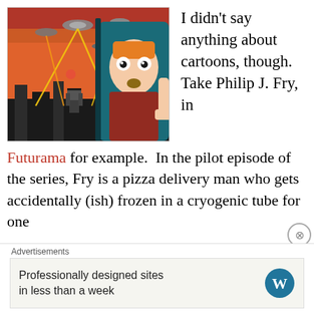[Figure (screenshot): Screenshot from Futurama animated series showing Philip J. Fry looking shocked, with a sci-fi cityscape being attacked by UFOs with laser beams in a red sky background.]
I didn't say anything about cartoons, though. Take Philip J. Fry, in Futurama for example.  In the pilot episode of the series, Fry is a pizza delivery man who gets accidentally (ish) frozen in a cryogenic tube for one
Advertisements
Professionally designed sites in less than a week